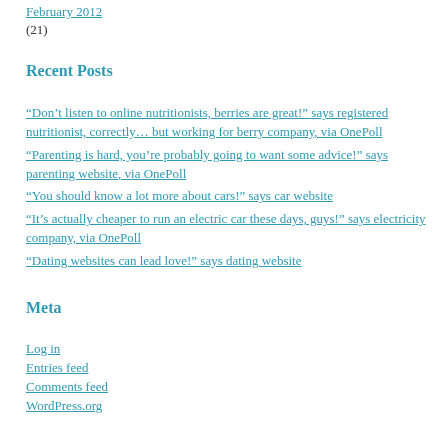February 2012 (21)
Recent Posts
“Don’t listen to online nutritionists, berries are great!” says registered nutritionist, correctly… but working for berry company, via OnePoll
“Parenting is hard, you’re probably going to want some advice!” says parenting website, via OnePoll
“You should know a lot more about cars!” says car website
“It’s actually cheaper to run an electric car these days, guys!” says electricity company, via OnePoll
“Dating websites can lead love!” says dating website
Meta
Log in
Entries feed
Comments feed
WordPress.org